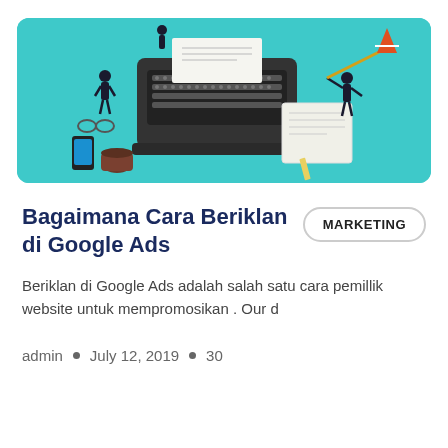[Figure (illustration): Isometric illustration of a large vintage typewriter on a teal background with small business people figures working around it, along with stationery items like a notepad, pencil, smartphone, and coffee cup.]
Bagaimana Cara Beriklan di Google Ads
MARKETING
Beriklan di Google Ads adalah salah satu cara pemillik website untuk mempromosikan . Our d
admin • July 12, 2019 • 30